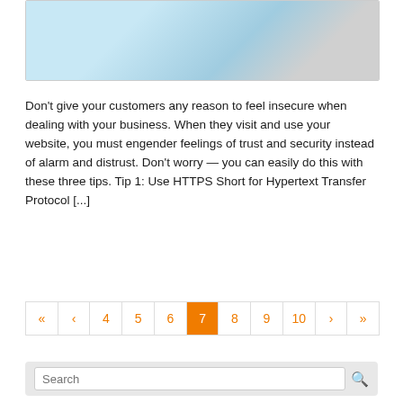[Figure (photo): Photo of a laptop with security lock/padlock on screen, representing cybersecurity or HTTPS security concept]
Don't give your customers any reason to feel insecure when dealing with your business. When they visit and use your website, you must engender feelings of trust and security instead of alarm and distrust. Don't worry — you can easily do this with these three tips. Tip 1: Use HTTPS Short for Hypertext Transfer Protocol [...]
Read more
« ‹ 4 5 6 7 8 9 10 › »
Search